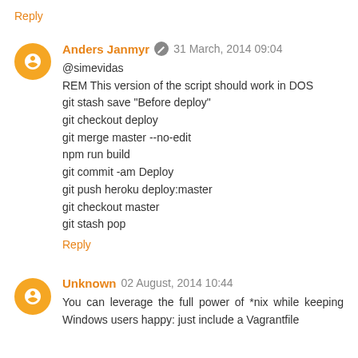Reply
Anders Janmyr  31 March, 2014 09:04
@simevidas
REM This version of the script should work in DOS
git stash save "Before deploy"
git checkout deploy
git merge master --no-edit
npm run build
git commit -am Deploy
git push heroku deploy:master
git checkout master
git stash pop
Reply
Unknown  02 August, 2014 10:44
You can leverage the full power of *nix while keeping Windows users happy: just include a Vagrantfile